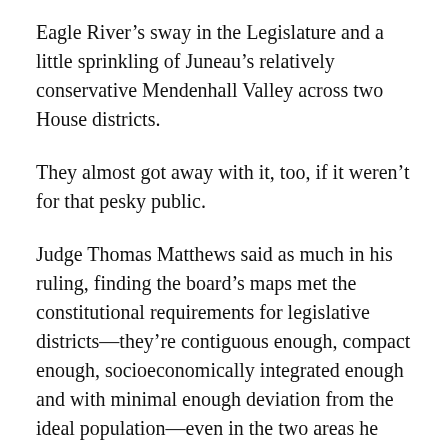Eagle River's sway in the Legislature and a little sprinkling of Juneau's relatively conservative Mendenhall Valley across two House districts.
They almost got away with it, too, if it weren't for that pesky public.
Judge Thomas Matthews said as much in his ruling, finding the board's maps met the constitutional requirements for legislative districts—they're contiguous enough, compact enough, socioeconomically integrated enough and with minimal enough deviation from the ideal population—even in the two areas he struck down. He found the contiguity requirement was satisfied in the board's decision to link Eagle River and East Anchorage together in a single House district, rejecting the notion that people should be able to travel throughout their district without